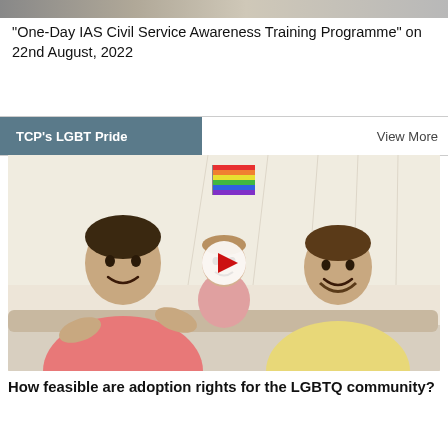[Figure (photo): Top cropped photograph, partially visible, appears to be a group or event scene.]
“One-Day IAS Civil Service Awareness Training Programme” on 22nd August, 2022
TCP's LGBT Pride
View More
[Figure (photo): Two men smiling with a baby holding a rainbow pride flag; a video play button overlay is visible in the center.]
How feasible are adoption rights for the LGBTQ community?